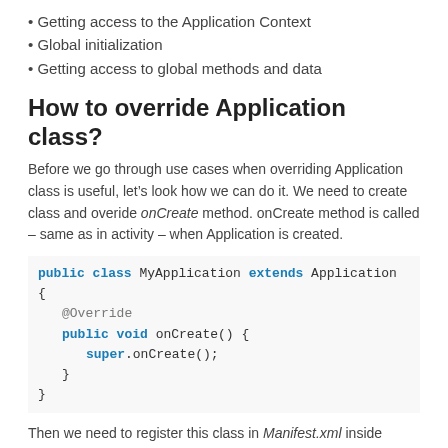Getting access to the Application Context
Global initialization
Getting access to global methods and data
How to override Application class?
Before we go through use cases when overriding Application class is useful, let’s look how we can do it. We need to create class and overide onCreate method. onCreate method is called – same as in activity – when Application is created.
public class MyApplication extends Application {
  @Override
  public void onCreate() {
    super.onCreate();
  }
}
Then we need to register this class in Manifest.xml inside application tag with fully qualified name: